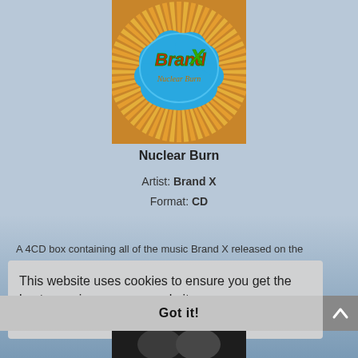[Figure (illustration): Brand X Nuclear Burn album cover — circular sunburst in orange and yellow with a blue cloud shape in the center. 'Brand X' in red and green lettering, 'Nuclear Burn' in script below.]
Nuclear Burn
Artist: Brand X
Format: CD
A 4CD box containing all of the music Brand X released on the
This website uses cookies to ensure you get the best experience on our website.
Learn more
Got it!
[Figure (photo): Partial black and white photo at bottom of page, partially visible.]